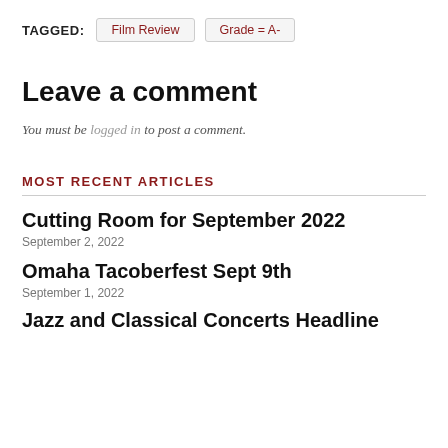TAGGED: Film Review  Grade = A-
Leave a comment
You must be logged in to post a comment.
MOST RECENT ARTICLES
Cutting Room for September 2022
September 2, 2022
Omaha Tacoberfest Sept 9th
September 1, 2022
Jazz and Classical Concerts Headline